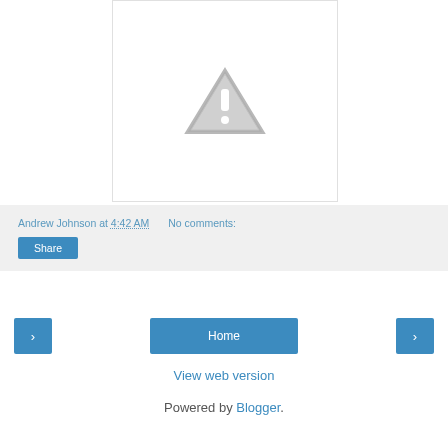[Figure (illustration): Broken image placeholder showing a grey warning triangle with exclamation mark on white background with border]
Andrew Johnson at 4:42 AM   No comments:
Share
‹
Home
›
View web version
Powered by Blogger.